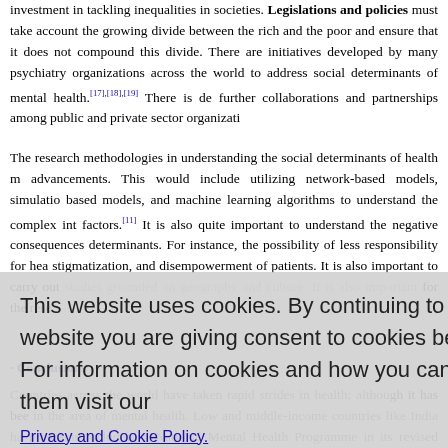investment in tackling inequalities in societies. Legislations and policies must take account the growing divide between the rich and the poor and ensure that it does not compound this divide. There are initiatives developed by many psychiatry organizations across the world to address social determinants of mental health.[17],[18],[19] There is definitely need for further collaborations and partnerships among public and private sector organizations.
The research methodologies in understanding the social determinants of health need advancements. This would include utilizing network-based models, simulation, agent-based models, and machine learning algorithms to understand the complex interactions of factors.[11] It is also quite important to understand the negative consequences of social determinants. For instance, the possibility of less responsibility for health, stigmatization, and disempowerment of patients. It is also important to carry out comparative studies grounded on geography and culture. It is also important for the research to be...
Conclusions
Countries across the world have taken rapid strides in health; although it has been lacking in the area of mental health. Low and middle-income countries like India have started programs including a National Mental Health Programme in its revised form as the District Health Programme. However, they have not fully succeeded in empowering communities and mental health matters. Huge disparities continue to exist between different...
[Figure (screenshot): Cookie consent overlay with text: 'This website uses cookies. By continuing to use this website you are giving consent to cookies being used. For information on cookies and how you can disable them visit our Privacy and Cookie Policy.' with an AGREE & PROCEED button.]